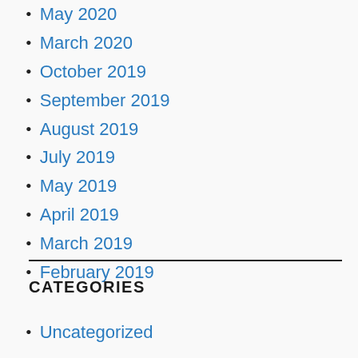May 2020
March 2020
October 2019
September 2019
August 2019
July 2019
May 2019
April 2019
March 2019
February 2019
CATEGORIES
Uncategorized